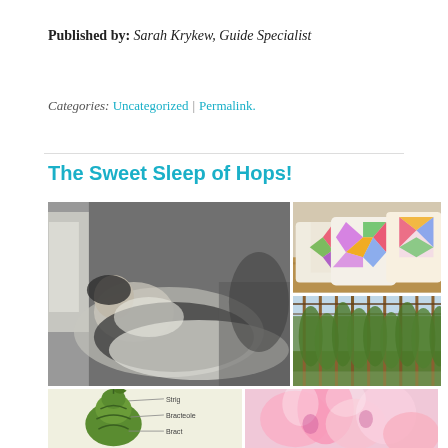Published by: Sarah Krykew, Guide Specialist
Categories: Uncategorized | Permalink.
The Sweet Sleep of Hops!
[Figure (photo): Black and white painting of a reclining woman sleeping on a bed/couch in a dramatic Victorian style]
[Figure (photo): Colorful patchwork quilted sachets or pillows with floral patterns in pink, green, yellow on a wooden surface]
[Figure (photo): Hops farm with tall poles and green hop vines growing in rows]
[Figure (illustration): Diagram of a hop cone showing labeled parts: Strig, Bracteole, Bract, with a green illustrated hop cone]
[Figure (photo): Close-up of pink and white flowers]